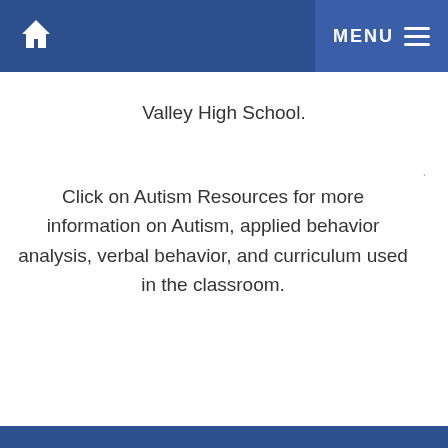Valley High School.
Click on Autism Resources for more information on Autism, applied behavior analysis, verbal behavior, and curriculum used in the classroom.